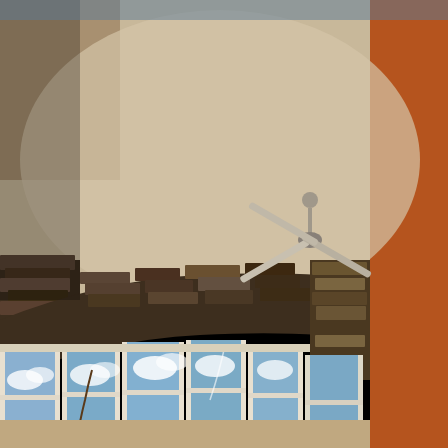[Figure (photo): Interior photo of a room with vaulted ceiling, ceiling fan, bay windows, and stone accent wall. The room features multiple white-framed bay windows looking out to a blue sky with clouds. A ceiling fan with three blades hangs from the smooth beige ceiling. The walls have a dark stone veneer border at the top. On the right side, an orange/terracotta-colored accent wall or column is visible. The photo is taken from a low angle looking up and toward the windows.]